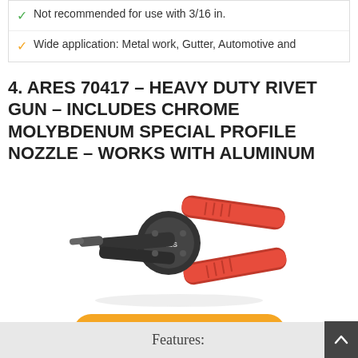Not recommended for use with 3/16 in.
Wide application: Metal work, Gutter, Automotive and
4. ARES 70417 – HEAVY DUTY RIVET GUN – INCLUDES CHROME MOLYBDENUM SPECIAL PROFILE NOZZLE – WORKS WITH ALUMINUM
[Figure (photo): Heavy duty rivet gun with black body and red/black ergonomic handles, shown open at an angle]
Check Price On Amazon
Features: